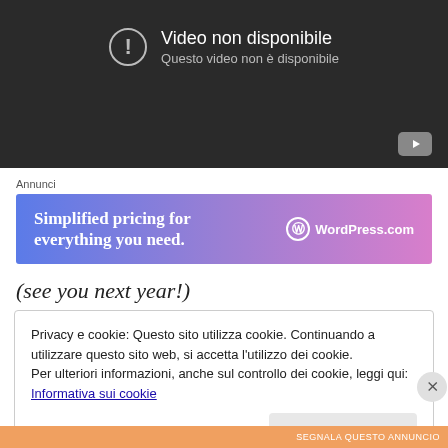[Figure (screenshot): YouTube video unavailable placeholder with dark background, showing 'Video non disponibile' and 'Questo video non è disponibile' message with exclamation icon and YouTube play button in corner.]
Annunci
[Figure (screenshot): WordPress.com advertisement banner with gradient blue-purple background reading 'Simplified pricing for everything you need.' with WordPress.com logo.]
(see you next year!)
Privacy e cookie: Questo sito utilizza cookie. Continuando a utilizzare questo sito web, si accetta l'utilizzo dei cookie.
Per ulteriori informazioni, anche sul controllo dei cookie, leggi qui:
Informativa sui cookie
Chiudi e accetta